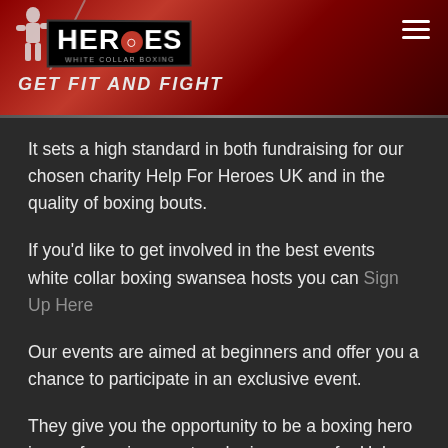[Figure (logo): Heroes White Collar Boxing logo with red background, boxer silhouette, and tagline GET FIT AND FIGHT]
It sets a high standard in both fundraising for our chosen charity Help For Heroes UK and in the quality of boxing bouts.
If you'd like to get involved in the best events white collar boxing swansea hosts you can Sign Up Here
Our events are aimed at beginners and offer you a chance to participate in an exclusive event.
They give you the opportunity to be a boxing hero in a safe environment and raise money for Help For Heroes UK.